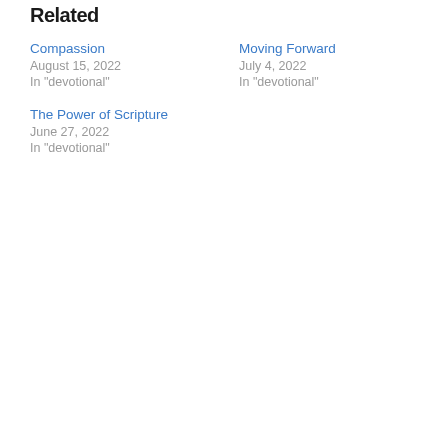Related
Compassion
August 15, 2022
In "devotional"
Moving Forward
July 4, 2022
In "devotional"
The Power of Scripture
June 27, 2022
In "devotional"